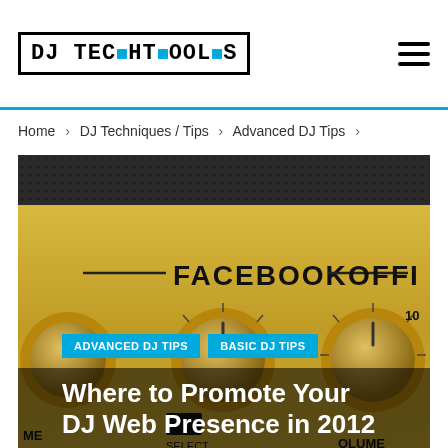DJ TECHTOOLS
Home › DJ Techniques / Tips › Advanced DJ Tips ›
[Figure (photo): Close-up photo of a gold-colored DJ mixer panel with knobs and the word FACEBOOK visible on the panel. Two large rotary knobs are prominent in the center.]
ADVANCED DJ TIPS  BASIC DJ TIPS
Where to Promote Your DJ Web Presence in 2012